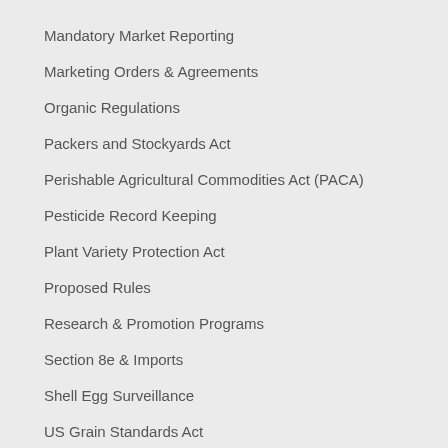Mandatory Market Reporting
Marketing Orders & Agreements
Organic Regulations
Packers and Stockyards Act
Perishable Agricultural Commodities Act (PACA)
Pesticide Record Keeping
Plant Variety Protection Act
Proposed Rules
Research & Promotion Programs
Section 8e & Imports
Shell Egg Surveillance
US Grain Standards Act